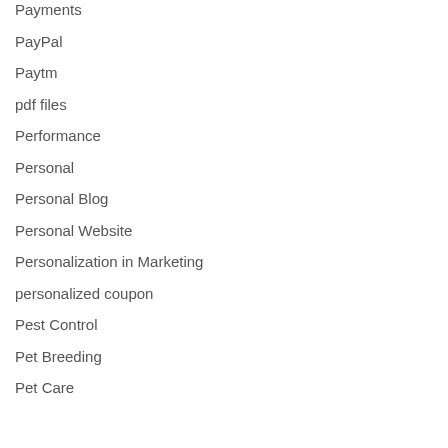Payments
PayPal
Paytm
pdf files
Performance
Personal
Personal Blog
Personal Website
Personalization in Marketing
personalized coupon
Pest Control
Pet Breeding
Pet Care